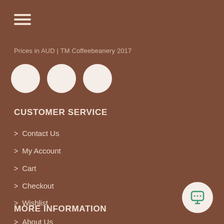[Figure (illustration): Hamburger menu icon with three horizontal white lines]
Prices in AUD | TM Coffeebeanery 2017
[Figure (illustration): Three white circles representing social media icon placeholders]
CUSTOMER SERVICE
> Contact Us
> My Account
> Cart
> Checkout
> Wishlist
MORE INFORMATION
> About Us
[Figure (illustration): White circle chat button with green chat icon in bottom right corner]